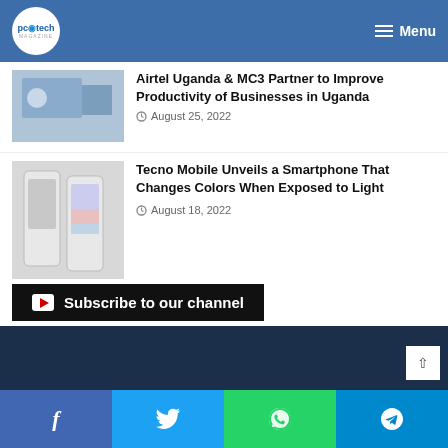PC Tech Magazine | Menu
Airtel Uganda & MC3 Partner to Improve Productivity of Businesses in Uganda
August 25, 2022
Tecno Mobile Unveils a Smartphone That Changes Colors When Exposed to Light
August 18, 2022
Subscribe to our channel
PC Tech Magazine
YouTube 545
f | t | WhatsApp | Telegram